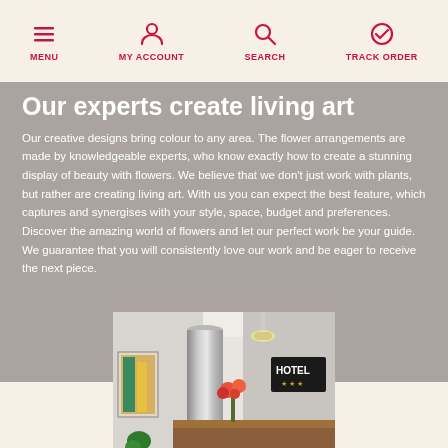MENU | MY ACCOUNT | SEARCH | TRACK ORDER
Our experts create living art
Our creative designs bring colour to any area. The flower arrangements are made by knowledgeable experts, who know exactly how to create a stunning display of beauty with flowers. We believe that we don't just work with plants, but rather are creating living art. With us you can expect the best feature, which captures and synergises with your style, space, budget and preferences. Discover the amazing world of flowers and let our perfect work be your guide. We guarantee that you will consistently love our work and be eager to receive the next piece.
[Figure (photo): Hotel lobby interior with a metallic cylindrical column, flower arrangement on a wooden reception desk, and a dark sign reading HOTEL in the background]